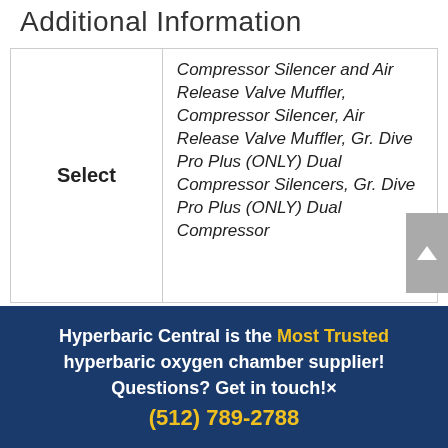Additional Information
| Select |  |
| --- | --- |
| Select | Compressor Silencer and Air Release Valve Muffler, Compressor Silencer, Air Release Valve Muffler, Gr. Dive Pro Plus (ONLY) Dual Compressor Silencers, Gr. Dive Pro Plus (ONLY) Dual Compressor… |
Hyperbaric Central is the Most Trusted hyperbaric oxygen chamber supplier! Questions? Get in touch!× (512) 789-2788